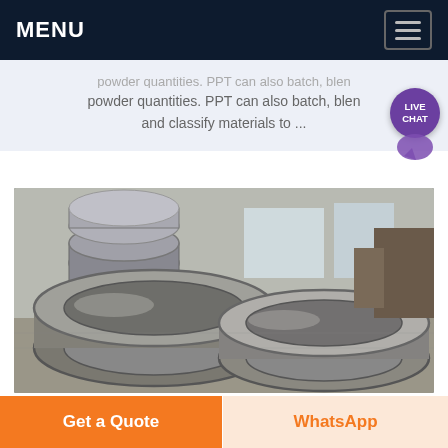MENU
... powder quantities. PPT can also batch, blend, and classify materials to ...
[Figure (photo): Industrial metal forged rings (large circular steel/alloy rings) resting on a factory floor, with more ring components stacked in the background inside a manufacturing facility.]
Get a Quote
WhatsApp